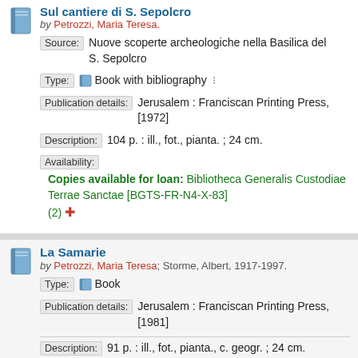Sul cantiere di S. Sepolcro
by Petrozzi, Maria Teresa.
Source: Nuove scoperte archeologiche nella Basilica del S. Sepolcro
Type: Book with bibliography
Publication details: Jerusalem : Franciscan Printing Press, [1972]
Description: 104 p. : ill., fot., pianta. ; 24 cm.
Availability: Copies available for loan: Bibliotheca Generalis Custodiae Terrae Sanctae [BGTS-FR-N4-X-83] (2)
La Samarie
by Petrozzi, Maria Teresa; Storme, Albert, 1917-1997.
Type: Book
Publication details: Jerusalem : Franciscan Printing Press, [1981]
Description: 91 p. : ill., fot., pianta., c. geogr. ; 24 cm.